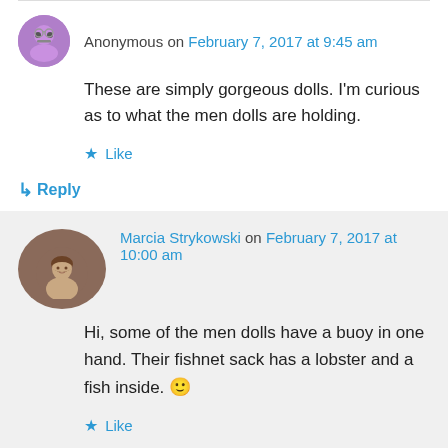Anonymous on February 7, 2017 at 9:45 am
These are simply gorgeous dolls. I'm curious as to what the men dolls are holding.
Like
Reply
Marcia Strykowski on February 7, 2017 at 10:00 am
Hi, some of the men dolls have a buoy in one hand. Their fishnet sack has a lobster and a fish inside. 🙂
Like